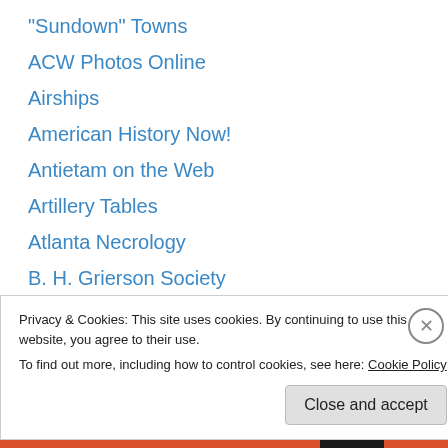"Sundown" Towns
ACW Photos Online
Airships
American History Now!
Antietam on the Web
Artillery Tables
Atlanta Necrology
B. H. Grierson Society
Big Maps Blog
Blue & Gray Marching
Books Online — Penn
British Soldiers, American Revolution
Captain Blakely's Guns
Privacy & Cookies: This site uses cookies. By continuing to use this website, you agree to their use.
To find out more, including how to control cookies, see here: Cookie Policy
Close and accept